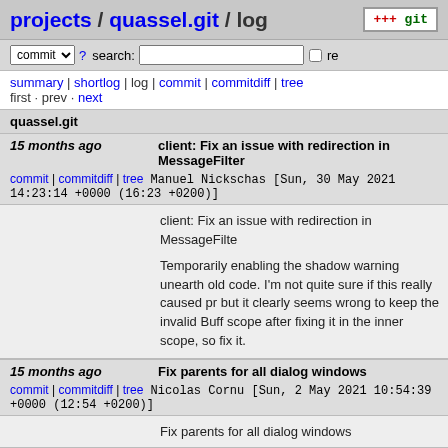projects / quassel.git / log
commit ? search: re
summary | shortlog | log | commit | commitdiff | tree
first · prev · next
quassel.git
15 months ago    client: Fix an issue with redirection in MessageFilter
commit | commitdiff | tree    Manuel Nickschas [Sun, 30 May 2021 14:23:14 +0000 (16:23 +0200)]
client: Fix an issue with redirection in MessageFilte...

Temporarily enabling the shadow warning unearthed some old code. I'm not quite sure if this really caused pr... but it clearly seems wrong to keep the invalid Buffe... scope after fixing it in the inner scope, so fix it.
15 months ago    Fix parents for all dialog windows
commit | commitdiff | tree    Nicolas Cornu [Sun, 2 May 2021 10:54:39 +0000 (12:54 +0200)]
Fix parents for all dialog windows